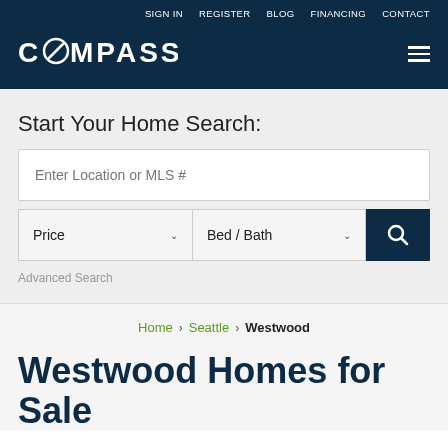SIGN IN   REGISTER   BLOG   FINANCING   CONTACT
[Figure (logo): COMPASS logo in white on dark navy background]
Start Your Home Search:
Enter Location or MLS #
Price
Bed / Bath
Advanced Search
Home > Seattle > Westwood
Westwood Homes for Sale